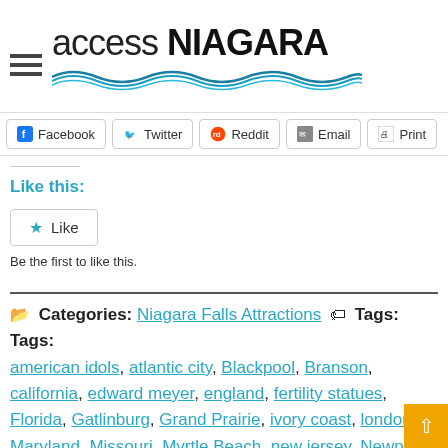access NIAGARA
Facebook  Twitter  Reddit  Email  Print
Like this:
Like
Be the first to like this.
Categories: Niagara Falls Attractions  Tags: Tags: american idols, atlantic city, Blackpool, Branson, california, edward meyer, england, fertility statues, Florida, Gatlinburg, Grand Prairie, ivory coast, london, Maryland, Missouri, Myrtle Beach, new jersey, Newport, Ocean City, Oregon, orlando, Ripley Entertainment, ripley's, ripley's believe it or not, San Antonio, san